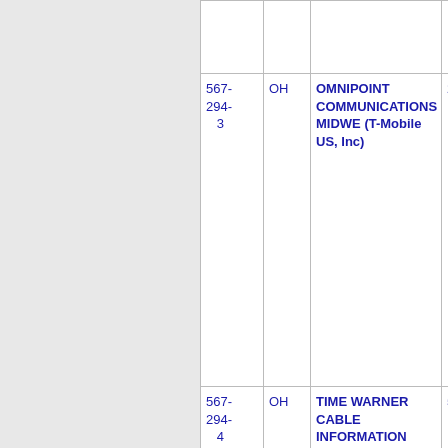| NPA-NXX | State | Company | Number |
| --- | --- | --- | --- |
| 567-294-3 | OH | OMNIPOINT COMMUNICATIONS MIDWE (T-Mobile US, Inc) | 29 |
| 567-294-4 | OH | TIME WARNER CABLE INFORMATION | 54 |